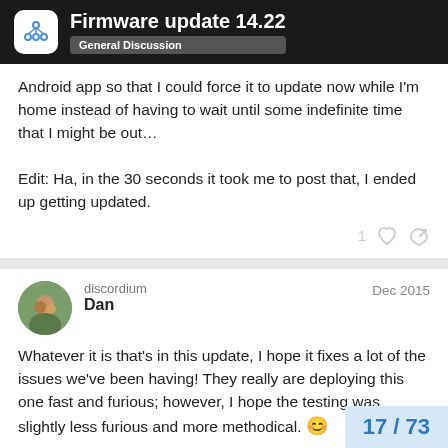Firmware update 14.22 — General Discussion
Android app so that I could force it to update now while I'm home instead of having to wait until some indefinite time that I might be out…

Edit: Ha, in the 30 seconds it took me to post that, I ended up getting updated.
discordium Dan — Dec 2015
Whatever it is that's in this update, I hope it fixes a lot of the issues we've been having! They really are deploying this one fast and furious; however, I hope the testing was slightly less furious and more methodical. 😊
17 / 73